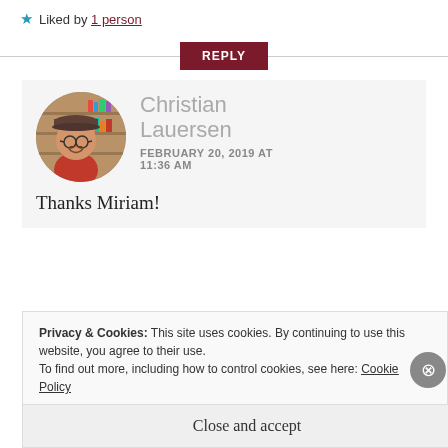★ Liked by 1 person
REPLY
[Figure (photo): Circular avatar photo of Christian Lauersen smiling in front of library bookshelves, wearing glasses and a cap]
Christian Lauersen
FEBRUARY 20, 2019 AT 11:36 AM
Thanks Miriam!
Privacy & Cookies: This site uses cookies. By continuing to use this website, you agree to their use.
To find out more, including how to control cookies, see here: Cookie Policy
Close and accept